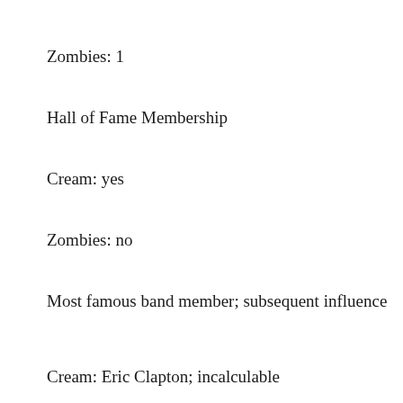Zombies: 1
Hall of Fame Membership
Cream: yes
Zombies: no
Most famous band member; subsequent influence
Cream: Eric Clapton; incalculable